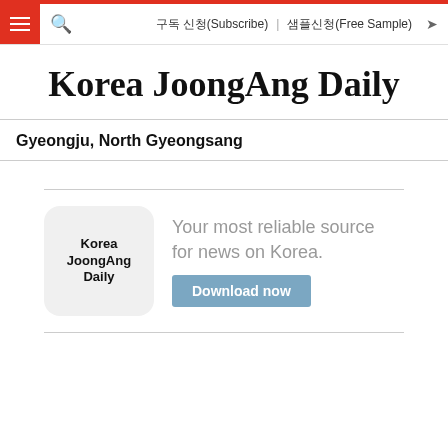구독 신청(Subscribe)  샘플신청(Free Sample)
Korea JoongAng Daily
Gyeongju, North Gyeongsang
[Figure (logo): Korea JoongAng Daily app icon with tagline 'Your most reliable source for news on Korea.' and a 'Download now' button]